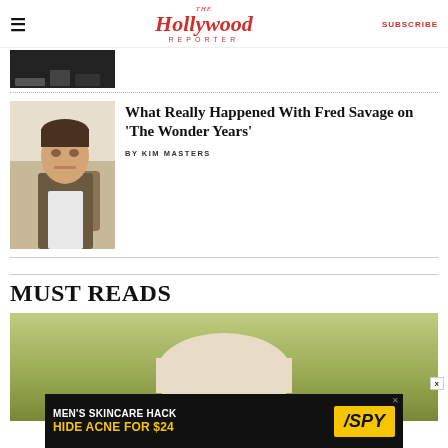The Hollywood Reporter — SUBSCRIBE
[Figure (photo): Partial dark photo strip at top of page]
What Really Happened With Fred Savage on 'The Wonder Years'
BY KIM MASTERS
MUST READS
[Figure (photo): Top of a person's head against olive/green background]
[Figure (photo): Advertisement: MEN'S SKINCARE HACK HIDE ACNE FOR $24 — SPY]